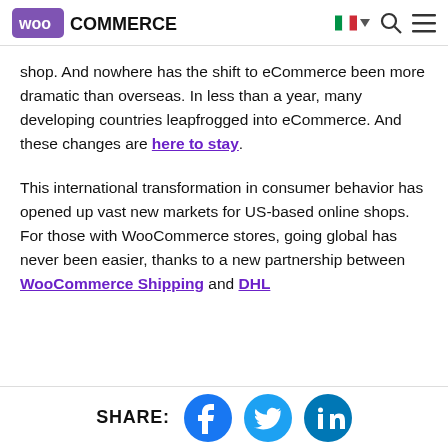WooCommerce logo with navigation icons (flag, search, menu)
shop. And nowhere has the shift to eCommerce been more dramatic than overseas. In less than a year, many developing countries leapfrogged into eCommerce. And these changes are here to stay.
This international transformation in consumer behavior has opened up vast new markets for US-based online shops. For those with WooCommerce stores, going global has never been easier, thanks to a new partnership between WooCommerce Shipping and DHL
SHARE: [Facebook] [Twitter] [LinkedIn]